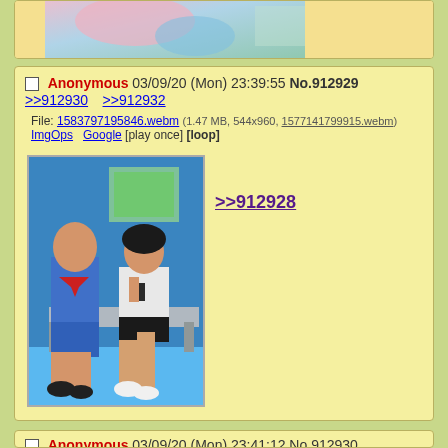[Figure (screenshot): Top portion of a 4chan-style imageboard post showing a cropped animated image at the top]
Anonymous 03/09/20 (Mon) 23:39:55 No.912929 >>912930 >>912932
File: 1583797195846.webm (1.47 MB, 544x960, 1577141799915.webm) ImgOps Google [play once] [loop]
[Figure (photo): Photo of two people sitting on subway/metro seats - a young boy in blue school uniform with red scarf on left, and a young woman in white top and black shorts looking at phone on right]
>>912928
Anonymous 03/09/20 (Mon) 23:41:12 No.912930